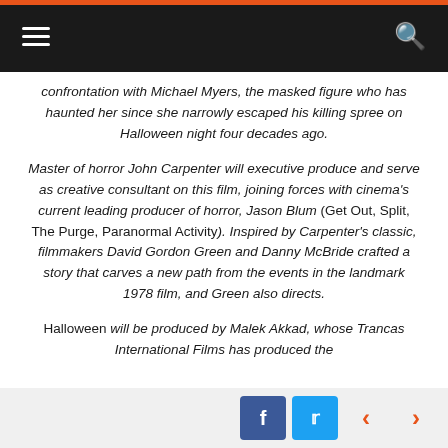Navigation bar with hamburger menu and search icon
confrontation with Michael Myers, the masked figure who has haunted her since she narrowly escaped his killing spree on Halloween night four decades ago.
Master of horror John Carpenter will executive produce and serve as creative consultant on this film, joining forces with cinema's current leading producer of horror, Jason Blum (Get Out, Split, The Purge, Paranormal Activity). Inspired by Carpenter's classic, filmmakers David Gordon Green and Danny McBride crafted a story that carves a new path from the events in the landmark 1978 film, and Green also directs.
Halloween will be produced by Malek Akkad, whose Trancas International Films has produced the
Social share buttons: Facebook, Twitter. Navigation arrows: previous, next.